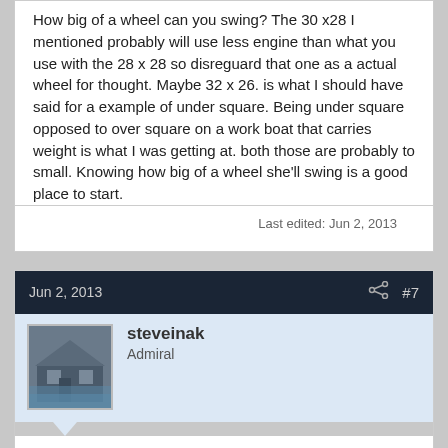How big of a wheel can you swing? The 30 x28 I mentioned probably will use less engine than what you use with the 28 x 28 so disreguard that one as a actual wheel for thought. Maybe 32 x 26. is what I should have said for a example of under square. Being under square opposed to over square on a work boat that carries weight is what I was getting at. both those are probably to small. Knowing how big of a wheel she'll swing is a good place to start.
Last edited: Jun 2, 2013
Jun 2, 2013
#7
steveinak
Admiral
Brian i'd load that boat up like you have all your gear on it you know heavy fishing weight then see what you get for load & rpm's, i think most guys underestimate how much extra weight they have on the boat(i know i do). no matter